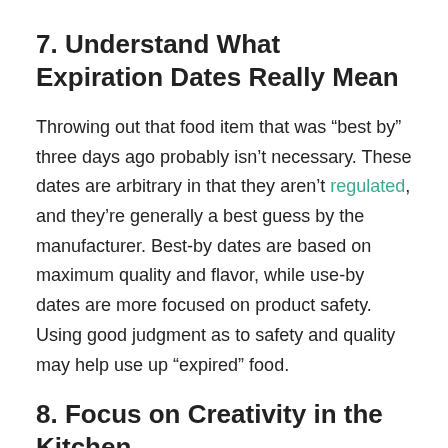7. Understand What Expiration Dates Really Mean
Throwing out that food item that was “best by” three days ago probably isn’t necessary. These dates are arbitrary in that they aren’t regulated, and they’re generally a best guess by the manufacturer. Best-by dates are based on maximum quality and flavor, while use-by dates are more focused on product safety. Using good judgment as to safety and quality may help use up “expired” food.
8. Focus on Creativity in the Kitchen